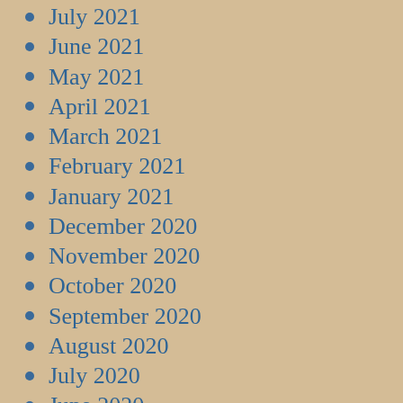July 2021
June 2021
May 2021
April 2021
March 2021
February 2021
January 2021
December 2020
November 2020
October 2020
September 2020
August 2020
July 2020
June 2020
May 2020
April 2020
March 2020